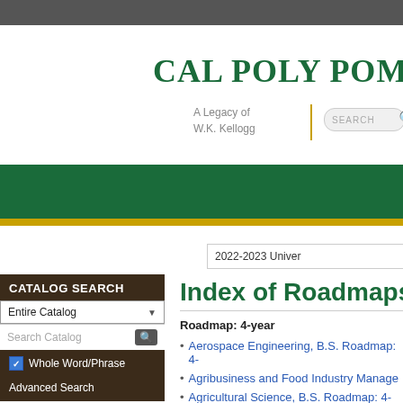CAL POLY POM
A Legacy of W.K. Kellogg
2022-2023 Univer
Index of Roadmaps
Roadmap: 4-year
Aerospace Engineering, B.S. Roadmap: 4-
Agribusiness and Food Industry Manage
Agricultural Science, B.S. Roadmap: 4-ye
CATALOG SEARCH
Entire Catalog
Search Catalog
Whole Word/Phrase
Advanced Search
Catalog Home
Archived PDF Catalogs